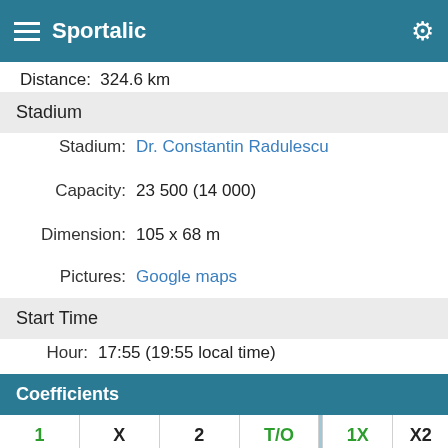Sportalic
Distance:  324.6 km
Stadium
Stadium:  Dr. Constantin Radulescu
Capacity:  23 500 (14 000)
Dimension:  105 x 68 m
Pictures:  Google maps
Start Time
Hour:  17:55 (19:55 local time)
| 1 | X | 2 | T/O |  | 1X | X2 |
| --- | --- | --- | --- | --- | --- | --- |
| 1.40 | 4.00 | 8.00 | 1 |  | 1.08 | 2.75 |